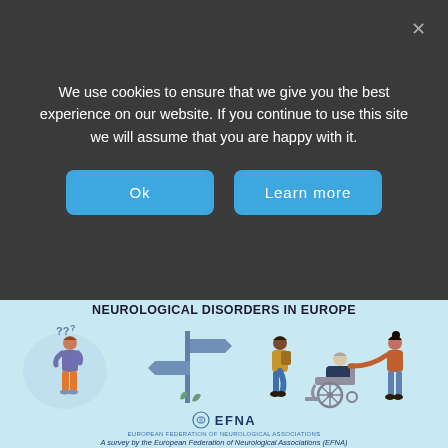We use cookies to ensure that we give you the best experience on our website. If you continue to use this site we will assume that you are happy with it.
[Figure (screenshot): Cookie consent overlay with two buttons: 'Ok' and 'Learn more', on a dark grey background with a close X button.]
NEUROLOGICAL DISORDERS IN EUROPE
[Figure (illustration): Illustrated scene showing a confused man with question marks, a signpost with directional signs, a person walking with a backpack, an elderly person in a wheelchair, and a caregiver pushing the wheelchair. Light blue background. EFNA logo and survey credit at the bottom.]
A survey by the European Federation of Neurological Associations (EFNA)